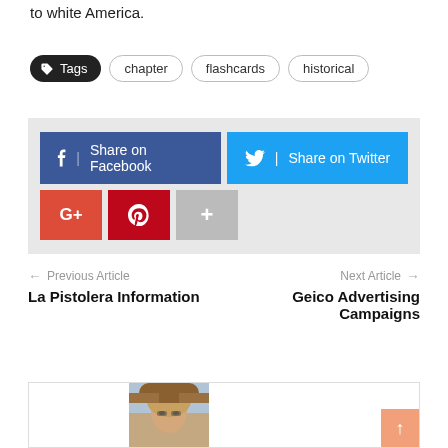to white America.
Tags  chapter  flashcards  historical
[Figure (screenshot): Social share buttons: Share on Facebook (dark blue), Share on Twitter (light blue), Google+ (red), Pinterest (dark red), More/plus (gray)]
← Previous Article   La Pistolera Information
Next Article →   Geico Advertising Campaigns
[Figure (photo): Portrait photo of a woman with long blonde hair and sunglasses, partially visible at the bottom of the page]